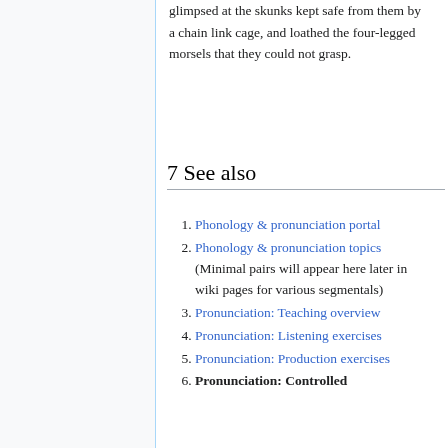glimpsed at the skunks kept safe from them by a chain link cage, and loathed the four-legged morsels that they could not grasp.
7 See also
Phonology & pronunciation portal
Phonology & pronunciation topics (Minimal pairs will appear here later in wiki pages for various segmentals)
Pronunciation: Teaching overview
Pronunciation: Listening exercises
Pronunciation: Production exercises
Pronunciation: Controlled